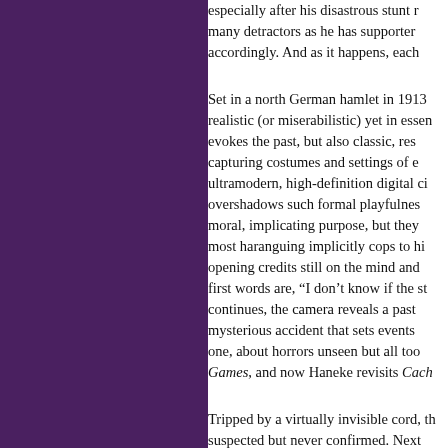especially after his disastrous stunt r... many detractors as he has supporter... accordingly. And as it happens, each...
Set in a north German hamlet in 1913... realistic (or miserabilistic) yet in essen... evokes the past, but also classic, res... capturing costumes and settings of e... ultramodern, high-definition digital ci... overshadows such formal playfulness... moral, implicating purpose, but they... most haranguing implicitly cops to hi... opening credits still on the mind and... first words are, "I don't know if the st... continues, the camera reveals a past... mysterious accident that sets events... one, about horrors unseen but all too... Games, and now Haneke revisits Cach...
Tripped by a virtually invisible cord, th... suspected but never confirmed. Next... crushed to death by the gears of a m...